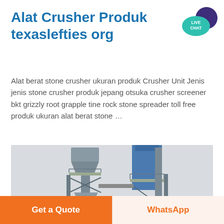Alat Crusher Produk texaslefties org
[Figure (illustration): Live Chat speech bubble badge with teal/dark blue colors, showing 'LIVE CHAT' text]
Alat berat stone crusher ukuran produk Crusher Unit Jenis jenis stone crusher produk jepang otsuka crusher screener bkt grizzly root grapple tine rock stone spreader toll free produk ukuran alat berat stone …
[Figure (photo): Industrial stone crusher plant with tall grey metal tower structures and blue silo/tank, photographed from below against a pale sky]
Get a Quote
WhatsApp